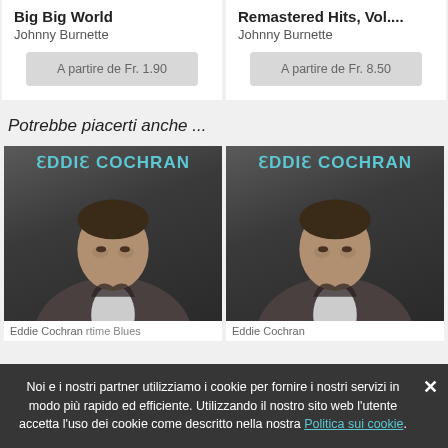Big Big World
Johnny Burnette
A partire de Fr. 1.90
Remastered Hits, Vol....
Johnny Burnette
A partire de Fr. 8.50
Potrebbe piacerti anche ...
[Figure (photo): Eddie Cochran album cover - black and white photo of man in jacket with EDDIE COCHRAN text at top in teal]
[Figure (photo): Eddie Cochran album cover - black and white photo of man in jacket with EDDIE COCHRAN text at top in teal]
Noi e i nostri partner utilizziamo i cookie per fornire i nostri servizi in modo più rapido ed efficiente. Utilizzando il nostro sito web l'utente accetta l'uso dei cookie come descritto nella nostra Politica sui cookie.
Eddie Cochran
rtime Blues
Eddie Cochran